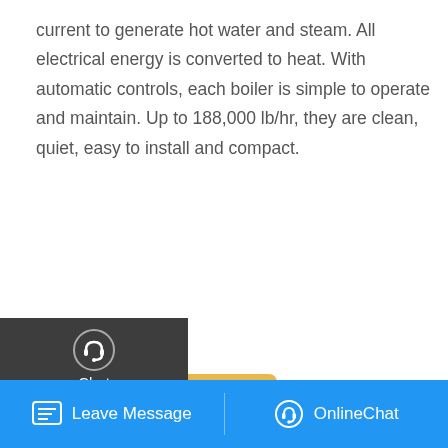current to generate hot water and steam. All electrical energy is converted to heat. With automatic controls, each boiler is simple to operate and maintain. Up to 188,000 lb/hr, they are clean, quiet, easy to install and compact.
[Figure (screenshot): Get a Quote button (gold/yellow, rounded rectangle) with chat/email/contact sidebar icons on dark background, and industrial boiler room photo below]
[Figure (photo): Industrial boiler room with large cylindrical boiler, green and red pipes, and control panel]
[Figure (screenshot): WhatsApp sticker save overlay with phone and face icons, purple background]
[Figure (screenshot): Blue bottom navigation bar with Leave Message (chat icon) and OnlineChat (headset icon) buttons]